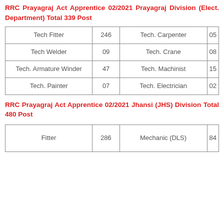RRC Prayagraj Act Apprentice 02/2021 Prayagraj Division (Elect. Department) Total 339 Post
| Post | Count | Post | Count |
| --- | --- | --- | --- |
| Tech Fitter | 246 | Tech. Carpenter | 05 |
| Tech Welder | 09 | Tech. Crane | 08 |
| Tech. Armature Winder | 47 | Tech. Machinist | 15 |
| Tech. Painter | 07 | Tech. Electrician | 02 |
RRC Prayagraj Act Apprentice 02/2021 Jhansi (JHS) Division Total 480 Post
| Post | Count | Post | Count |
| --- | --- | --- | --- |
| Fitter | 286 | Mechanic (DLS) | 84 |